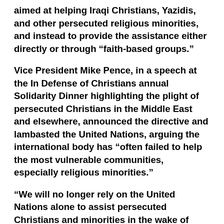aimed at helping Iraqi Christians, Yazidis, and other persecuted religious minorities, and instead to provide the assistance either directly or through “faith-based groups.”
Vice President Mike Pence, in a speech at the In Defense of Christians annual Solidarity Dinner highlighting the plight of persecuted Christians in the Middle East and elsewhere, announced the directive and lambasted the United Nations, arguing the international body has “often failed to help the most vulnerable communities, especially religious minorities.”
“We will no longer rely on the United Nations alone to assist persecuted Christians and minorities in the wake of genocide and the atrocities of terrorist